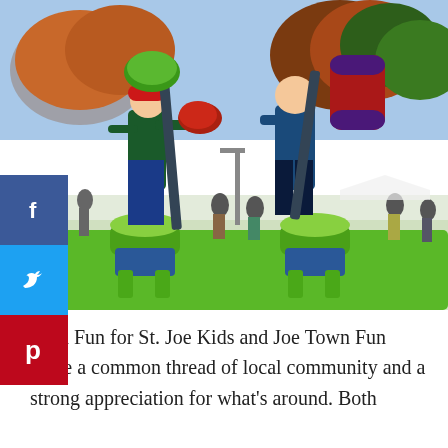[Figure (photo): Outdoor inflatable jousting game with two children standing on green inflatable platforms holding large padded jousting poles (red/green and red/purple). Background shows trees, people, and a park setting.]
Both Fun for St. Joe Kids and Joe Town Fun share a common thread of local community and a strong appreciation for what's around. Both